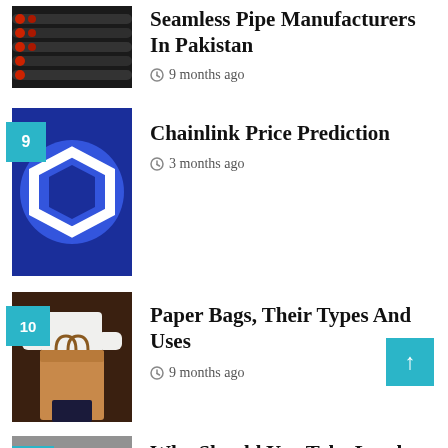[Figure (photo): Industrial seamless pipes bundled together, dark with red end caps]
Seamless Pipe Manufacturers In Pakistan
9 months ago
[Figure (logo): Chainlink cryptocurrency logo - white hexagon outline on blue circle, dark blue background. Badge number 9 in teal square.]
Chainlink Price Prediction
3 months ago
[Figure (photo): Person in white shirt holding a brown paper bag. Badge number 10 in teal square.]
Paper Bags, Their Types And Uses
9 months ago
[Figure (photo): Partial image at bottom with badge number 11 in teal square.]
Why Should You Take Lambo